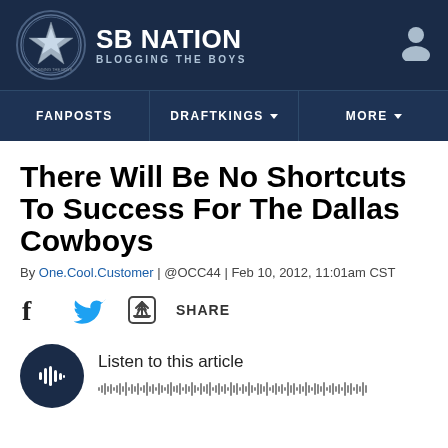SB NATION | BLOGGING THE BOYS
FANPOSTS | DRAFTKINGS | MORE
There Will Be No Shortcuts To Success For The Dallas Cowboys
By One.Cool.Customer | @OCC44 | Feb 10, 2012, 11:01am CST
[Figure (infographic): Social share bar with Facebook icon, Twitter bird icon, share icon, and SHARE text]
Listen to this article